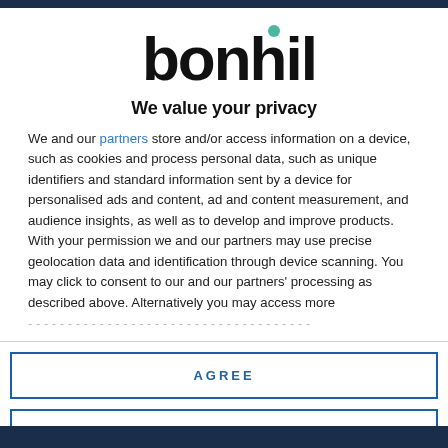[Figure (logo): Bonhill logo with teal dot above the letter i]
We value your privacy
We and our partners store and/or access information on a device, such as cookies and process personal data, such as unique identifiers and standard information sent by a device for personalised ads and content, ad and content measurement, and audience insights, as well as to develop and improve products. With your permission we and our partners may use precise geolocation data and identification through device scanning. You may click to consent to our and our partners' processing as described above. Alternatively you may access more detailed information…
AGREE
MORE OPTIONS